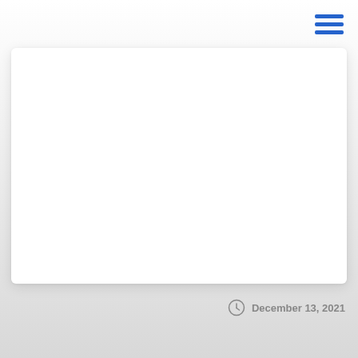[Figure (other): Hamburger menu icon with three horizontal blue lines in the top-right corner]
[Figure (other): White card/panel with rounded corners and drop shadow on a light gray background]
December 13, 2021